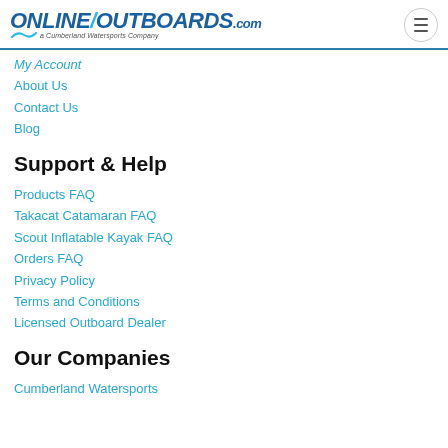OnlineOutboards.com — a Cumberland Watersports Company
My Account
About Us
Contact Us
Blog
Support & Help
Products FAQ
Takacat Catamaran FAQ
Scout Inflatable Kayak FAQ
Orders FAQ
Privacy Policy
Terms and Conditions
Licensed Outboard Dealer
Our Companies
Cumberland Watersports